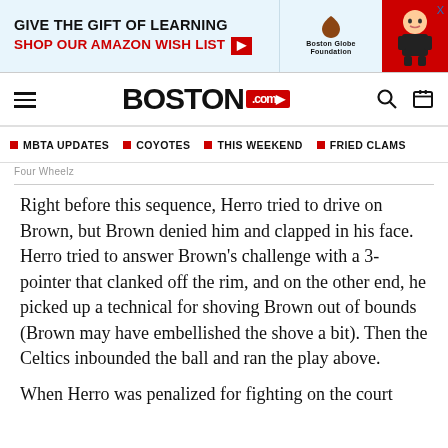[Figure (screenshot): Advertisement banner: 'Give the gift of learning / Shop our Amazon wish list' with Boston Globe Foundation logo and decorative figure]
BOSTON.com
MBTA UPDATES
COYOTES
THIS WEEKEND
FRIED CLAMS
Four Wheelz
Right before this sequence, Herro tried to drive on Brown, but Brown denied him and clapped in his face. Herro tried to answer Brown's challenge with a 3-pointer that clanked off the rim, and on the other end, he picked up a technical for shoving Brown out of bounds (Brown may have embellished the shove a bit). Then the Celtics inbounded the ball and ran the play above.
When Herro was penalized for fighting on the court